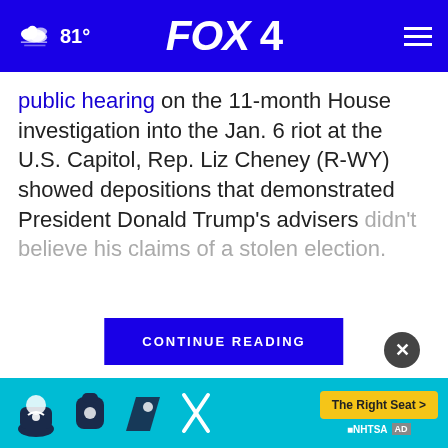FOX 4  81°
public hearing on the 11-month House investigation into the Jan. 6 riot at the U.S. Capitol, Rep. Liz Cheney (R-WY) showed depositions that demonstrated President Donald Trump's advisers didn't believe his claims of a stolen election.
CONTINUE READING
"You will see... advisers knew
[Figure (photo): Hands touching/resting on a surface — skin close-up photo]
[Figure (infographic): NHTSA car seat safety advertisement — The Right Seat — with car seat icons and teal background]